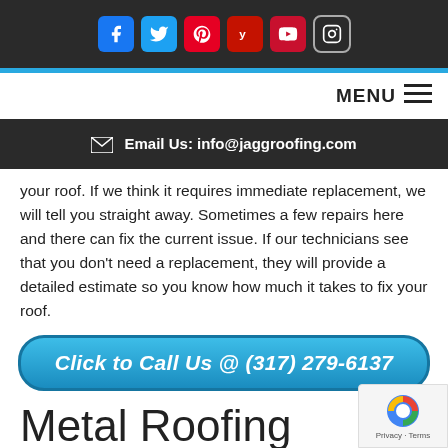Social media icons: Facebook, Twitter, Pinterest, Yelp, YouTube, Instagram
MENU ☰
✉ Email Us: info@jaggroofing.com
your roof. If we think it requires immediate replacement, we will tell you straight away. Sometimes a few repairs here and there can fix the current issue. If our technicians see that you don't need a replacement, they will provide a detailed estimate so you know how much it takes to fix your roof.
Click to Call Us @ (317) 279-6137
Metal Roofing